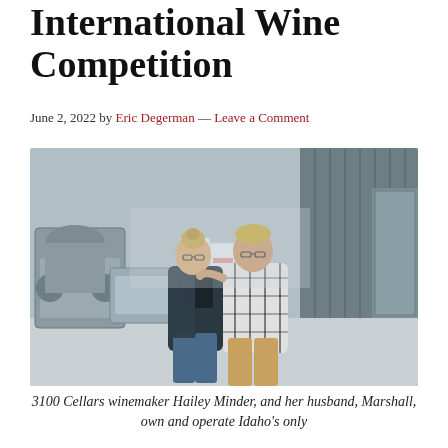International Wine Competition
June 2, 2022 by Eric Degerman — Leave a Comment
[Figure (photo): Two people, a woman and a man, standing together in a winery facility with equipment and machinery visible in the background. The woman is on the left wearing glasses, a dark vest over a black top, and jeans. The man is on the right wearing glasses and a black and white plaid shirt with tan pants.]
3100 Cellars winemaker Hailey Minder, and her husband, Marshall, own and operate Idaho's only